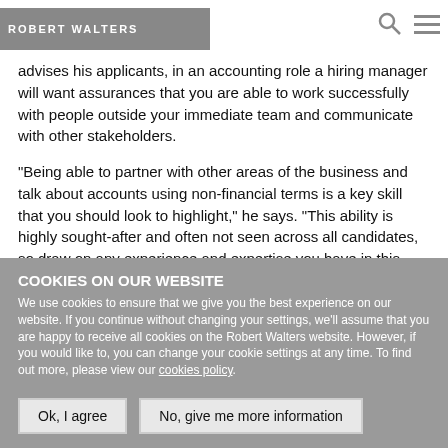ROBERT WALTERS
advises his applicants, in an accounting role a hiring manager will want assurances that you are able to work successfully with people outside your immediate team and communicate with other stakeholders.
“Being able to partner with other areas of the business and talk about accounts using non-financial terms is a key skill that you should look to highlight,” he says. “This ability is highly sought-after and often not seen across all candidates, so draw on any experience and expertise you have in this area.”
COOKIES ON OUR WEBSITE
We use cookies to ensure that we give you the best experience on our website. If you continue without changing your settings, we’ll assume that you are happy to receive all cookies on the Robert Walters website. However, if you would like to, you can change your cookie settings at any time. To find out more, please view our cookies policy.